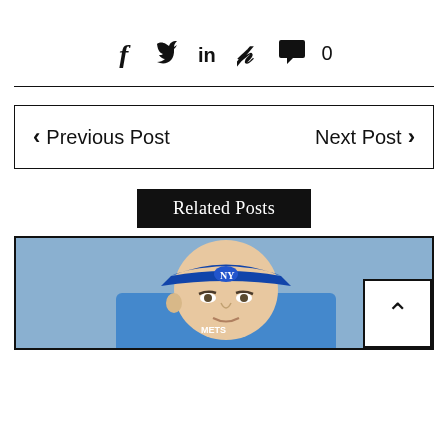[Figure (other): Social sharing icons: Facebook (f), Twitter (bird), LinkedIn (in), Pinterest (p), comment bubble with count 0]
0
< Previous Post    Next Post >
Related Posts
[Figure (photo): Photo of a baseball player wearing a blue New York Mets cap, cropped to show face and cap]